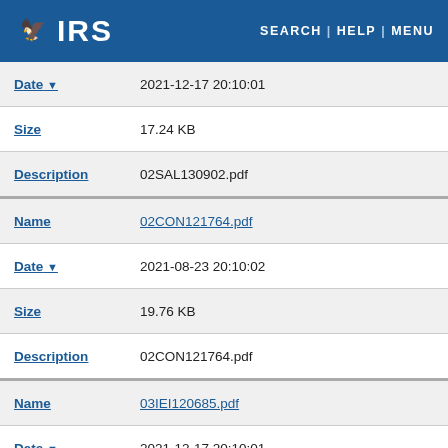IRS | SEARCH | HELP | MENU
| Field | Value |
| --- | --- |
| Date ▼ | 2021-12-17 20:10:01 |
| Size | 17.24 KB |
| Description | 02SAL130902.pdf |
| Name | 02CON121764.pdf |
| Date ▼ | 2021-08-23 20:10:02 |
| Size | 19.76 KB |
| Description | 02CON121764.pdf |
| Name | 03IEI120685.pdf |
| Date ▼ | 2021-12-17 20:10:01 |
| Size | 16.95 KB |